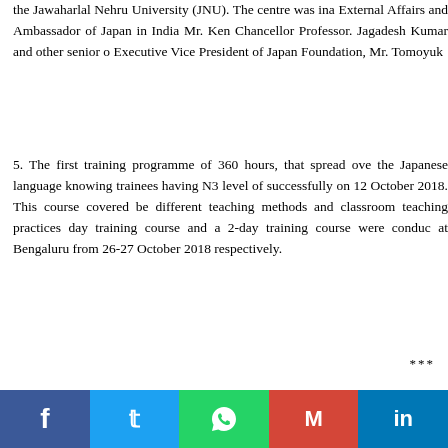the Jawaharlal Nehru University (JNU). The centre was inaugurated by Minister of External Affairs and Ambassador of Japan in India Mr. Ken... in the presence of Vice Chancellor Professor. Jagadesh Kumar and other senior officials including Executive Vice President of Japan Foundation, Mr. Tomoyuk...
5. The first training programme of 360 hours, that spread over... the Japanese language knowing trainees having N3 level of... successfully on 12 October 2018. This course covered be... different teaching methods and classroom teaching practices... day training course and a 2-day training course were condu... at Bengaluru from 26-27 October 2018 respectively.
***
[Figure (other): Social media sharing bar with Facebook, Twitter, WhatsApp, Gmail, and LinkedIn buttons]